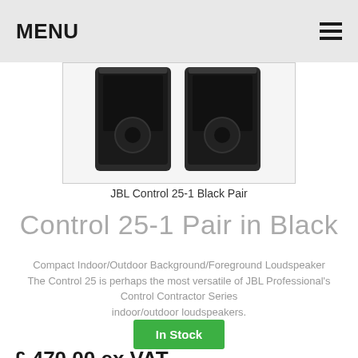MENU ☰
[Figure (photo): Two JBL Control 25-1 loudspeakers in black shown from above on white background]
JBL Control 25-1 Black Pair
Control 25-1 Pair in Black
Compact Indoor/Outdoor Background/Foreground Loudspeaker The Control 25 is perhaps the most versatile of JBL Professional's Control Contractor Series indoor/outdoor loudspeakers.
In Stock
£ 470.00 ex VAT
£ 564.00 inc VAT